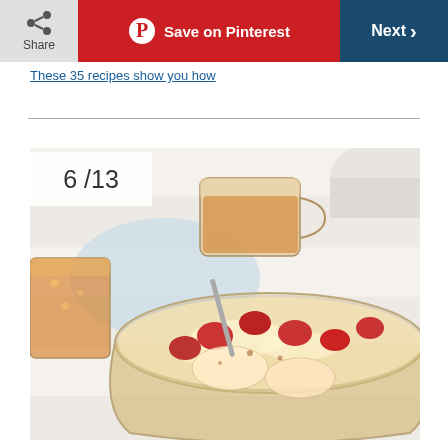Share | Save on Pinterest | Next
These 35 recipes show you how
[Figure (photo): A punch bowl / glass bowl filled with a golden-colored drink containing frozen strawberries and fruit pieces, with foam on top. Two glass mugs with orange juice or similar drink visible in the background, on a white wooden surface with a light blue cloth.]
6 / 13